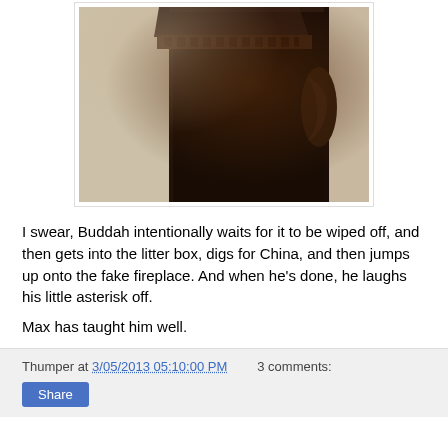[Figure (photo): A dark wooden furniture piece (appears to be a decorative cabinet or fireplace surround) with ornate carved details, photographed from below/side angle. The top portion shows cream/beige wall. Deep dark mahogany brown color.]
I swear, Buddah intentionally waits for it to be wiped off, and then gets into the litter box, digs for China, and then jumps up onto the fake fireplace. And when he's done, he laughs his little asterisk off.
Max has taught him well.
Thumper at 3/05/2013 05:10:00 PM   3 comments: